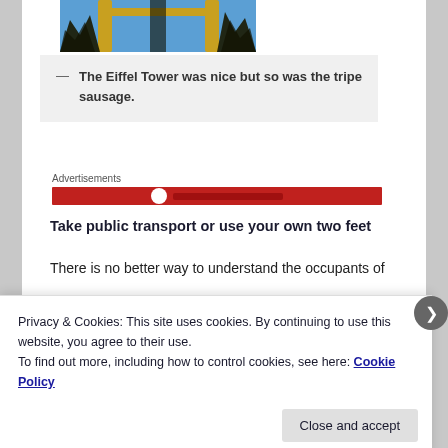[Figure (photo): Photo of the Eiffel Tower arch with bare trees against a blue sky, cropped view from below]
— The Eiffel Tower was nice but so was the tripe sausage.
Advertisements
Take public transport or use your own two feet
There is no better way to understand the occupants of a
Privacy & Cookies: This site uses cookies. By continuing to use this website, you agree to their use.
To find out more, including how to control cookies, see here: Cookie Policy
Close and accept